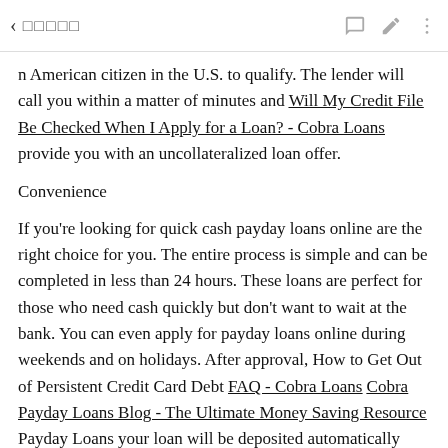◀ □□□□□
n American citizen in the U.S. to qualify. The lender will call you within a matter of minutes and Will My Credit File Be Checked When I Apply for a Loan? - Cobra Loans provide you with an uncollateralized loan offer.
Convenience
If you're looking for quick cash payday loans online are the right choice for you. The entire process is simple and can be completed in less than 24 hours. These loans are perfect for those who need cash quickly but don't want to wait at the bank. You can even apply for payday loans online during weekends and on holidays. After approval, How to Get Out of Persistent Credit Card Debt FAQ - Cobra Loans Cobra Payday Loans Blog - The Ultimate Money Saving Resource Payday Loans your loan will be deposited automatically into your bank account on the f